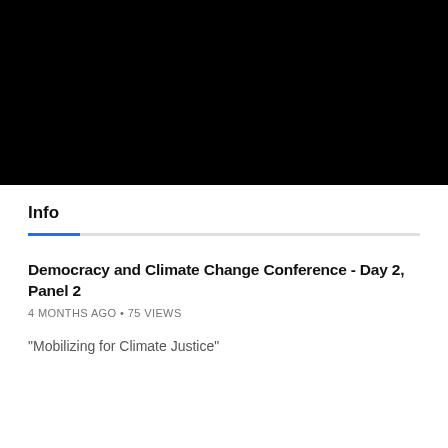[Figure (other): Black video thumbnail banner area]
Info
Democracy and Climate Change Conference - Day 2, Panel 2
4 MONTHS AGO • 75 VIEWS
"Mobilizing for Climate Justice"